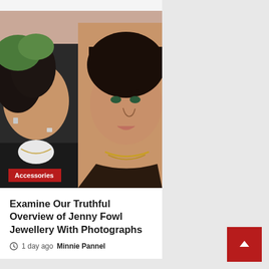[Figure (photo): Collage of two photos of women wearing jewellery (earrings, rings, necklaces). Left photo shows a woman from behind/side with dark hair, wearing earrings and a ring. Right photo shows a woman with dark hair and bangs, wearing a gold necklace, smiling. An 'Accessories' badge in red is overlaid at the bottom left.]
Examine Our Truthful Overview of Jenny Fowl Jewellery With Photographs
1 day ago  Minnie Pannel